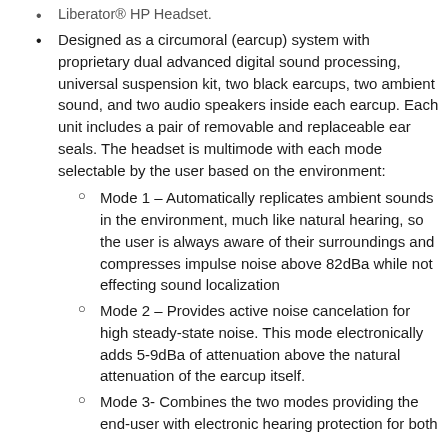Liberator® HP Headset.
Designed as a circumoral (earcup) system with proprietary dual advanced digital sound processing, universal suspension kit, two black earcups, two ambient sound, and two audio speakers inside each earcup. Each unit includes a pair of removable and replaceable ear seals. The headset is multimode with each mode selectable by the user based on the environment:
Mode 1 – Automatically replicates ambient sounds in the environment, much like natural hearing, so the user is always aware of their surroundings and compresses impulse noise above 82dBa while not effecting sound localization
Mode 2 – Provides active noise cancelation for high steady-state noise. This mode electronically adds 5-9dBa of attenuation above the natural attenuation of the earcup itself.
Mode 3- Combines the two modes providing the end-user with electronic hearing protection for both